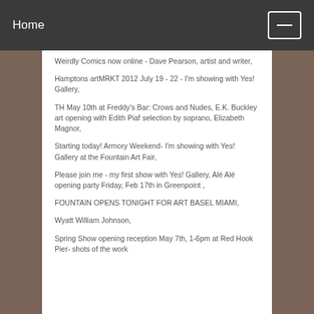Home
Weirdly Comics now online - Dave Pearson, artist and writer,
Hamptons artMRKT 2012 July 19 - 22 - I'm showing with Yes! Gallery,
TH May 10th at Freddy's Bar: Crows and Nudes, E.K. Buckley art opening with Edith Piaf selection by soprano, Elizabeth Magnor,
Starting today! Armory Weekend- I'm showing with Yes! Gallery at the Fountain Art Fair,
Please join me - my first show with Yes! Gallery, Alé Alé opening party Friday, Feb 17th in Greenpoint ,
FOUNTAIN OPENS TONIGHT FOR ART BASEL MIAMI,
Wyatt William Johnson,
Spring Show opening reception May 7th, 1-6pm at Red Hook Pier- shots of the work